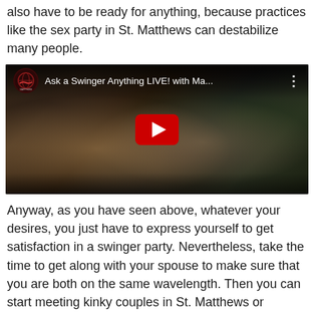also have to be ready for anything, because practices like the sex party in St. Matthews can destabilize many people.
[Figure (screenshot): YouTube video thumbnail showing a couple smiling together, with the video title 'Ask a Swinger Anything LIVE! with Ma...' and a red play button in the center. The Sapphire logo appears in the top-left corner.]
Anyway, as you have seen above, whatever your desires, you just have to express yourself to get satisfaction in a swinger party. Nevertheless, take the time to get along with your spouse to make sure that you are both on the same wavelength. Then you can start meeting kinky couples in St. Matthews or anywhere